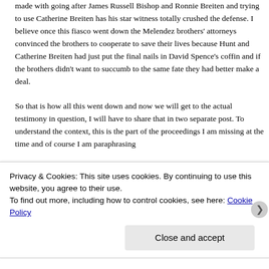made with going after James Russell Bishop and Ronnie Breiten and trying to use Catherine Breiten has his star witness totally crushed the defense. I believe once this fiasco went down the Melendez brothers' attorneys convinced the brothers to cooperate to save their lives because Hunt and Catherine Breiten had just put the final nails in David Spence's coffin and if the brothers didn't want to succumb to the same fate they had better make a deal.

So that is how all this went down and now we will get to the actual testimony in question, I will have to share that in two separate post. To understand the context, this is the part of the proceedings I am missing at the time and of course I am paraphrasing
Privacy & Cookies: This site uses cookies. By continuing to use this website, you agree to their use.
To find out more, including how to control cookies, see here: Cookie Policy